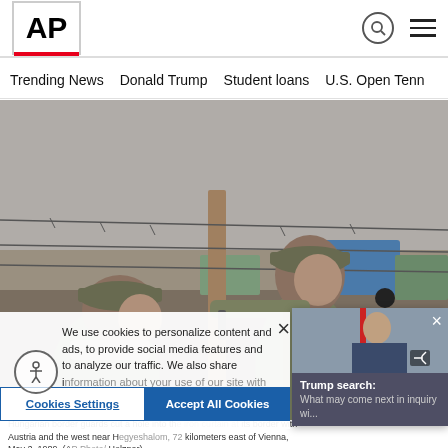AP
Trending News   Donald Trump   Student loans   U.S. Open Tenn
[Figure (photo): Hungarian border guards in military uniforms cutting barbed wire fence near an wooden post, with a blue truck visible in the background. Black and white/muted color photograph taken May 2, 1989.]
We use cookies to personalize content and ads, to provide social media features and to analyze our traffic. We also share information about your use of our site with our social media, advertising and analytics partners. Privacy Policy
[Figure (screenshot): Small video overlay thumbnail showing Trump search: What may come next in inquiry wi...]
Cookies Settings
Accept All Cookies
Hungarian border guards cut a hole into the iron curtain at its border with Austria and the west near Hegyeshalom, 72 kilometers east of Vienna, May 2, 1989. (AP Photo/Holzner)